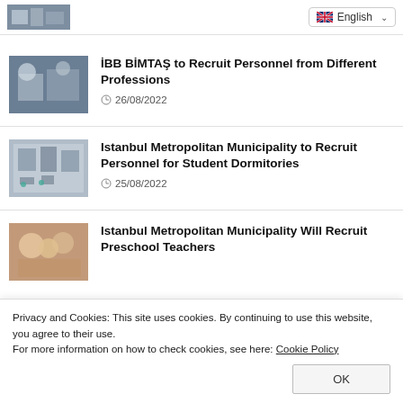[Figure (photo): Partial image at top left, cropped people/workplace scene]
English (language selector dropdown)
[Figure (photo): Thumbnail image of business handshake for İBB BİMTAŞ article]
İBB BİMTAŞ to Recruit Personnel from Different Professions
26/08/2022
[Figure (photo): Thumbnail image of building/dormitory for Istanbul Metropolitan Municipality article]
Istanbul Metropolitan Municipality to Recruit Personnel for Student Dormitories
25/08/2022
[Figure (photo): Thumbnail image of children/students for preschool teacher article]
Istanbul Metropolitan Municipality Will Recruit Preschool Teachers
Privacy and Cookies: This site uses cookies. By continuing to use this website, you agree to their use.
For more information on how to check cookies, see here: Cookie Policy